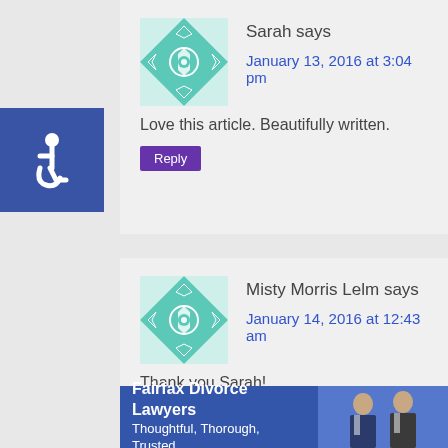[Figure (illustration): Blue square with white wheelchair accessibility icon]
[Figure (illustration): Teal and white geometric quilt-pattern avatar for Sarah]
Sarah says
January 13, 2016 at 3:04 pm
Love this article. Beautifully written.
Reply
[Figure (illustration): Teal and white geometric quilt-pattern avatar for Misty Morris Lelm]
Misty Morris Lelm says
January 14, 2016 at 12:43 am
Thank you Sarah!
Reply
[Figure (photo): Ad banner: Fairfax Divorce Lawyers - Thoughtful, Thorough, Trusted. with two men in suits]